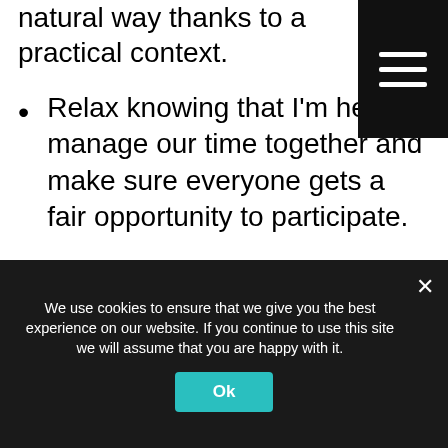natural way thanks to a practical context.
Relax knowing that I'm here to manage our time together and make sure everyone gets a fair opportunity to participate.
Discover Chartres, my new gorgeous city, with me! I very recently moved to this little piece of heaven and I am beyond excited to explore and share all I can with you!
Bask in French traditions & history in
We use cookies to ensure that we give you the best experience on our website. If you continue to use this site we will assume that you are happy with it.